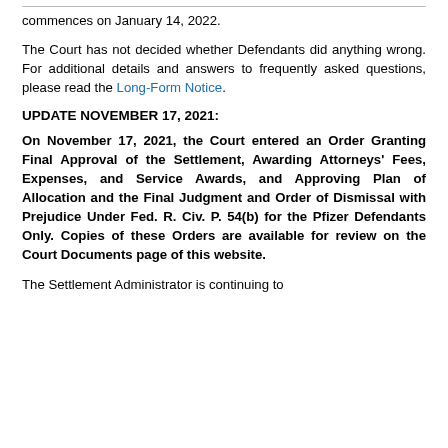commences on January 14, 2022.
The Court has not decided whether Defendants did anything wrong. For additional details and answers to frequently asked questions, please read the Long-Form Notice.
UPDATE NOVEMBER 17, 2021:
On November 17, 2021, the Court entered an Order Granting Final Approval of the Settlement, Awarding Attorneys' Fees, Expenses, and Service Awards, and Approving Plan of Allocation and the Final Judgment and Order of Dismissal with Prejudice Under Fed. R. Civ. P. 54(b) for the Pfizer Defendants Only. Copies of these Orders are available for review on the Court Documents page of this website.
The Settlement Administrator is continuing to